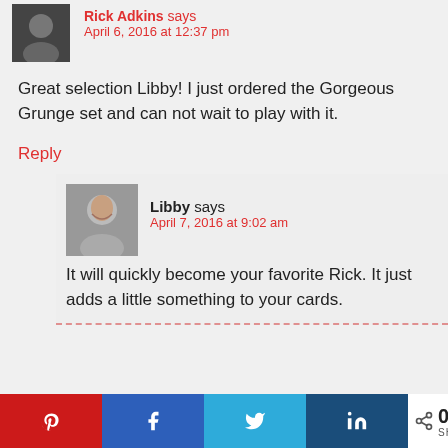Rick Adkins says April 6, 2016 at 12:37 pm
Great selection Libby! I just ordered the Gorgeous Grunge set and can not wait to play with it.
Reply
Libby says April 7, 2016 at 9:02 am
It will quickly become your favorite Rick. It just adds a little something to your cards.